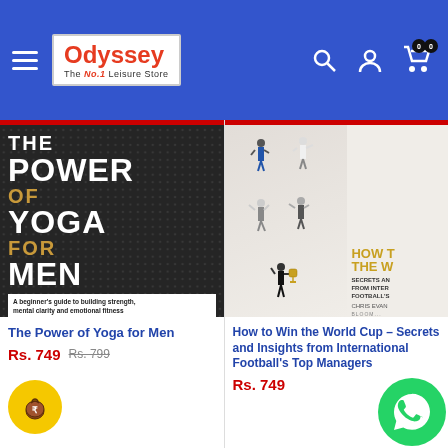Odyssey – The Leisure Store – navigation header
[Figure (photo): Book cover: The Power of Yoga for Men by Caleb Jude Packham & Jarod Chapman, Bloomsbury. Dark textured background with bold white and gold text.]
The Power of Yoga for Men
Rs. 749  Rs. 799
[Figure (photo): Book cover: How to Win the World Cup – Secrets and Insights from International Football's Top Managers by Chris Evans, Bloomsbury. Shows multiple figures of football coaches.]
How to Win the World Cup – Secrets and Insights from International Football's Top Managers
Rs. 749